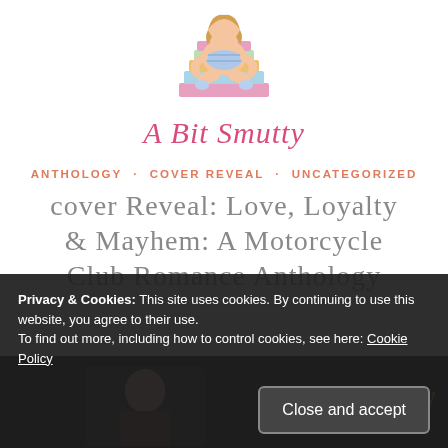[Figure (logo): A Bit Smutty blog logo: illustrated girl sitting cross-legged on a pile of books, with cursive text 'A Bit Smutty' below]
ANTHOLOGY · COVER REVEAL · UNCATEGORIZED
COVER REVEAL: Love, Loyalty & Mayhem: A Motorcycle Club Romance Anthology
Privacy & Cookies: This site uses cookies. By continuing to use this website, you agree to their use.
To find out more, including how to control cookies, see here: Cookie Policy
[Figure (photo): Partial view of a book cover for Love, Loyalty & Mayhem shown at bottom of page with dark background]